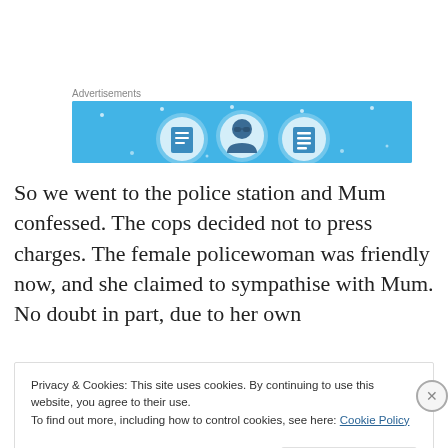Advertisements
[Figure (illustration): Advertisement banner with light blue background showing three circular icons: a document/notebook, a person with glasses, and a list/checklist icon, with small star/sparkle decorations]
So we went to the police station and Mum confessed. The cops decided not to press charges. The female policewoman was friendly now, and she claimed to sympathise with Mum. No doubt in part, due to her own
Privacy & Cookies: This site uses cookies. By continuing to use this website, you agree to their use.
To find out more, including how to control cookies, see here: Cookie Policy
Close and accept